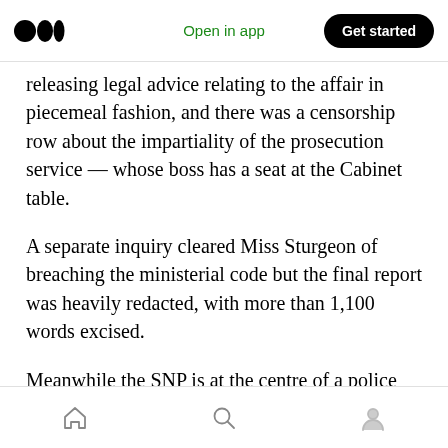Open in app | Get started
releasing legal advice relating to the affair in piecemeal fashion, and there was a censorship row about the impartiality of the prosecution service — whose boss has a seat at the Cabinet table.
A separate inquiry cleared Miss Sturgeon of breaching the ministerial code but the final report was heavily redacted, with more than 1,100 words excised.
Meanwhile the SNP is at the centre of a police investigation over the alleged theft of £600,000
Home | Search | Profile